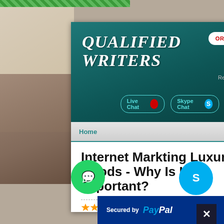[Figure (screenshot): Screenshot of 'Qualified Writers' website with teal header, ORDER NOW button, Live Chat and Skype Chat buttons, navigation bar with Home, and article title 'Internet Markting Luxury Goods - Why Is It Important?' with 4.9/5 rating based on 2480 reviews. Floating WhatsApp and Skype buttons visible. PayPal secured bar at bottom.]